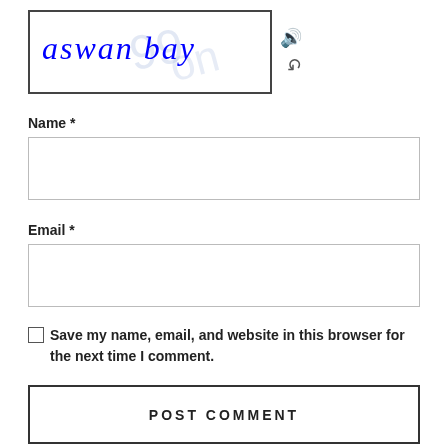[Figure (screenshot): CAPTCHA widget showing handwritten text 'aswan bay' in blue ink inside a bordered box, with audio and refresh icons to the right]
Name *
[Figure (screenshot): Empty text input field for Name]
Email *
[Figure (screenshot): Empty text input field for Email]
Save my name, email, and website in this browser for the next time I comment.
POST COMMENT